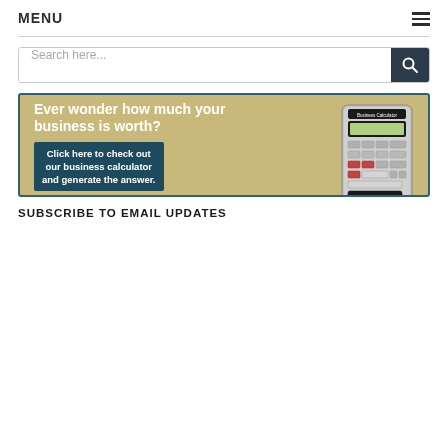MENU
[Figure (screenshot): Search bar with text 'Search here...' and a dark navy search button with magnifying glass icon]
[Figure (infographic): Advertisement banner with gold/tan background and teal border. Text reads: 'Ever wonder how much your business is worth?' and 'Click here to check out our business calculator and generate the answer.' with an image of a business calculator on the right side.]
SUBSCRIBE TO EMAIL UPDATES